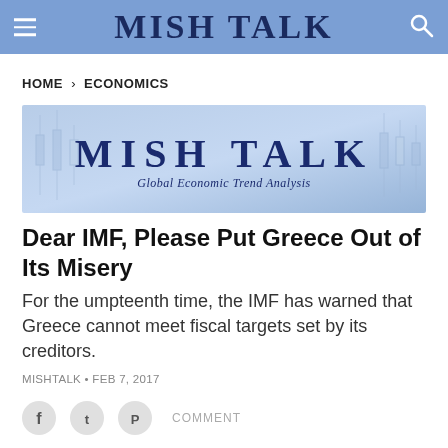MISH TALK
HOME › ECONOMICS
[Figure (logo): Mish Talk logo banner with text 'MISH TALK' and subtitle 'Global Economic Trend Analysis' on a light blue background with faint candlestick chart graphics]
Dear IMF, Please Put Greece Out of Its Misery
For the umpteenth time, the IMF has warned that Greece cannot meet fiscal targets set by its creditors.
MISHTALK • FEB 7, 2017